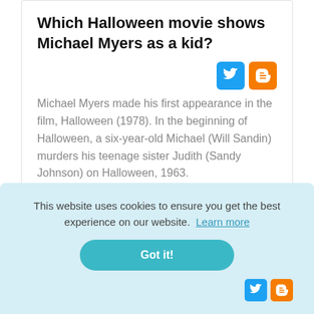Which Halloween movie shows Michael Myers as a kid?
[Figure (other): Twitter and Blogger social sharing icons]
Michael Myers made his first appearance in the film, Halloween (1978). In the beginning of Halloween, a six-year-old Michael (Will Sandin) murders his teenage sister Judith (Sandy Johnson) on Halloween, 1963.
This website uses cookies to ensure you get the best experience on our website. Learn more
Got it!
[Figure (other): Twitter and Blogger social sharing icons (partially visible at bottom)]